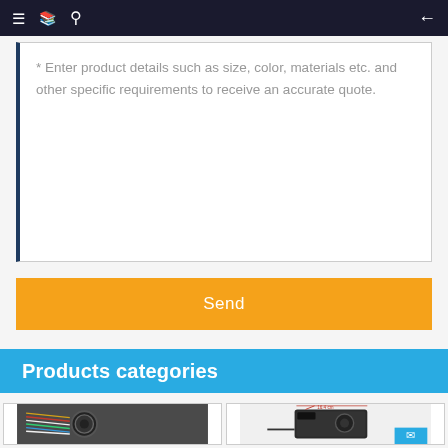Navigation bar with menu, book, search icons and back arrow
* Enter product details such as size, color, materials etc. and other specific requirements to receive an accurate quote.
Send
Products categories
[Figure (photo): Photo of a black PC power supply unit with colorful cables and a fan]
[Figure (photo): Photo of a small black PC power supply unit with dimension annotation showing 16.4 cm]